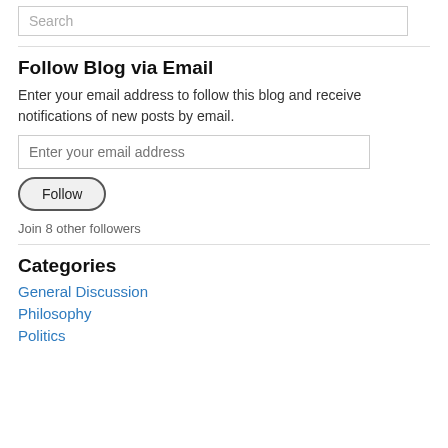Search
Follow Blog via Email
Enter your email address to follow this blog and receive notifications of new posts by email.
Enter your email address
Follow
Join 8 other followers
Categories
General Discussion
Philosophy
Politics